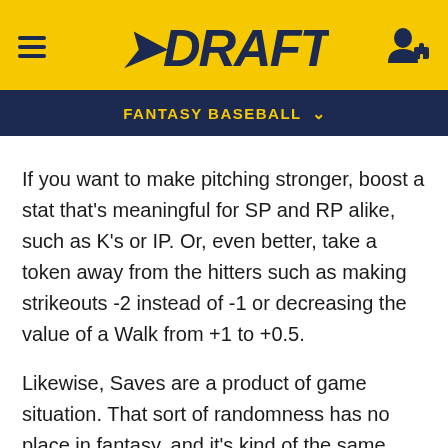DRAFTY
FANTASY BASEBALL
If you want to make pitching stronger, boost a stat that's meaningful for SP and RP alike, such as K's or IP. Or, even better, take a token away from the hitters such as making strikeouts -2 instead of -1 or decreasing the value of a Walk from +1 to +0.5.
Likewise, Saves are a product of game situation. That sort of randomness has no place in fantasy, and it's kind of the same reason Kickers are so controversial in fantasy football, because it's totally unpredictable when a guy will kick 5 FGs and when he'll attempt zero.